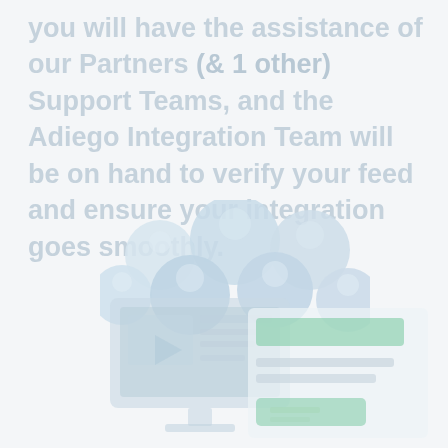you will have the assistance of our Partners (& 1 other) Support Teams, and the Adiego Integration Team will be on hand to verify your feed and ensure your integration goes smoothly.
[Figure (illustration): A cluster of overlapping circular avatar/profile icons in light blue-grey tones, arranged in a loose group pattern suggesting a team or group of people.]
[Figure (illustration): A faded illustration in the bottom-left showing what appears to be a TV or monitor display with some content, in muted blue-grey tones.]
[Figure (screenshot): A faded UI screenshot in the bottom-right showing interface elements including a green bar, two grey lines of text, and a green button, suggesting a form or content management interface.]